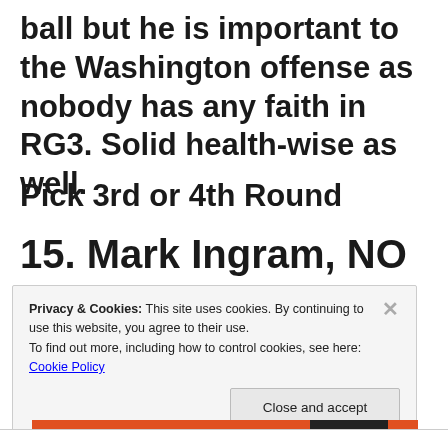ball but he is important to the Washington offense as nobody has any faith in RG3. Solid health-wise as well.
Pick 3rd or 4th Round
15. Mark Ingram, NO
Privacy & Cookies: This site uses cookies. By continuing to use this website, you agree to their use.
To find out more, including how to control cookies, see here: Cookie Policy
Close and accept